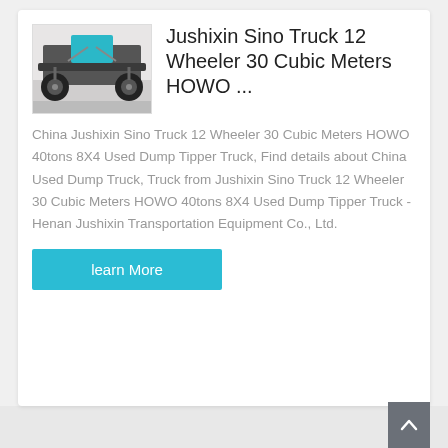[Figure (photo): Underside/chassis view of a dump truck photographed from below, showing axle and suspension components against a white background.]
Jushixin Sino Truck 12 Wheeler 30 Cubic Meters HOWO ...
China Jushixin Sino Truck 12 Wheeler 30 Cubic Meters HOWO 40tons 8X4 Used Dump Tipper Truck, Find details about China Used Dump Truck, Truck from Jushixin Sino Truck 12 Wheeler 30 Cubic Meters HOWO 40tons 8X4 Used Dump Tipper Truck - Henan Jushixin Transportation Equipment Co., Ltd.
learn More